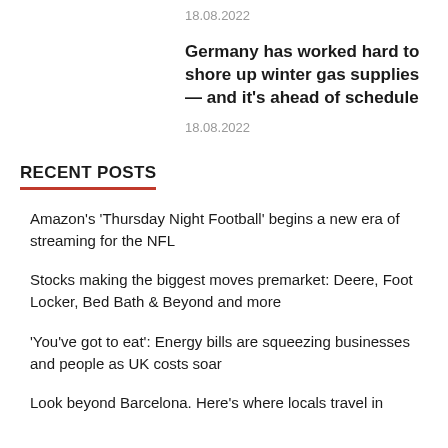18.08.2022
Germany has worked hard to shore up winter gas supplies — and it's ahead of schedule
18.08.2022
RECENT POSTS
Amazon's 'Thursday Night Football' begins a new era of streaming for the NFL
Stocks making the biggest moves premarket: Deere, Foot Locker, Bed Bath & Beyond and more
'You've got to eat': Energy bills are squeezing businesses and people as UK costs soar
Look beyond Barcelona. Here's where locals travel in